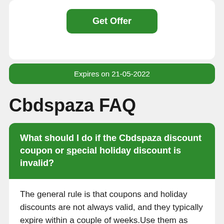Get Offer
Expires on 21-05-2022
Cbdspaza FAQ
What should I do if the Cbdspaza discount coupon or special holiday discount is invalid?
The general rule is that coupons and holiday discounts are not always valid, and they typically expire within a couple of weeks.Use them as soon as possible to avoid expiration.Our recommendation is to pay attention to Cbdspaza's clearance products or limited-time discounted products if the coupons are not valid.Discounts are